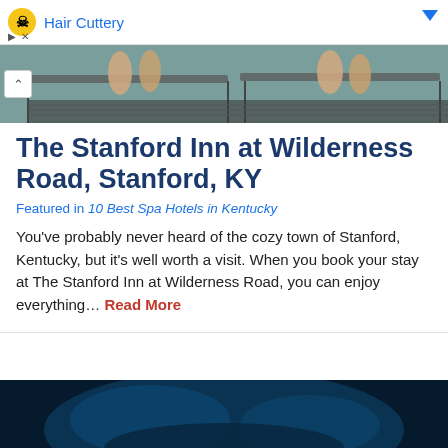Hair Cuttery
[Figure (photo): Partial view of people lounging on pool chairs, cropped showing feet and legs, with a collapse/chevron button overlay on the left]
The Stanford Inn at Wilderness Road, Stanford, KY
Featured in 10 Best Spa Hotels in Kentucky
You’ve probably never heard of the cozy town of Stanford, Kentucky, but it’s well worth a visit. When you book your stay at The Stanford Inn at Wilderness Road, you can enjoy everything… Read More
[Figure (photo): Dark blue/teal atmospheric photo at the bottom of the page, partially visible]